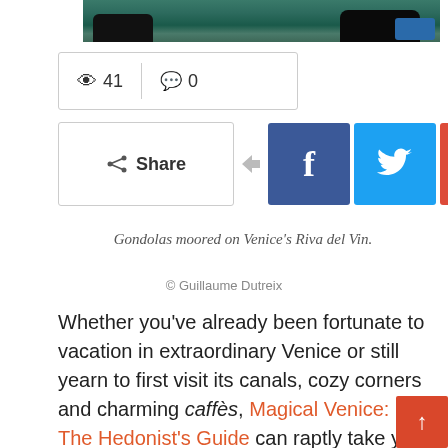[Figure (photo): Top of a photo showing gondolas moored on Venice's waterfront, with dark water and colorful boats visible]
👁 41  💬 0
< Share  f  bird  G  reddit  +
Gondolas moored on Venice's Riva del Vin.
© Guillaume Dutreix
Whether you've already been fortunate to vacation in extraordinary Venice or still yearn to first visit its canals, cozy corners and charming caffès, Magical Venice: The Hedonist's Guide can raptly take you on a joyful armchair traveler's journey.